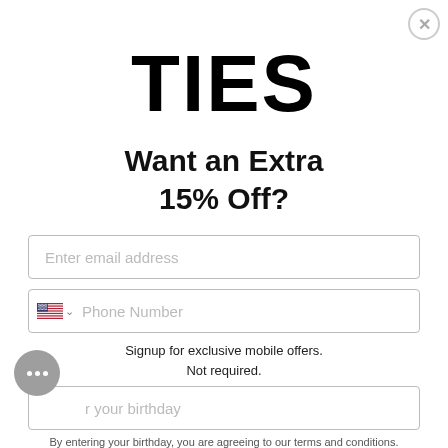TIES
Want an Extra 15% Off?
Enter email address
Phone Number
Signup for exclusive mobile offers.
Not required.
Enter your birthday
By entering your birthday, you are agreeing to our terms and conditions.